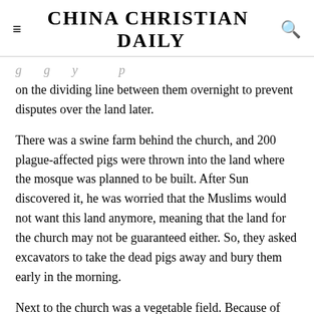≡  CHINA CHRISTIAN DAILY  🔍
on the dividing line between them overnight to prevent disputes over the land later.
There was a swine farm behind the church, and 200 plague-affected pigs were thrown into the land where the mosque was planned to be built. After Sun discovered it, he was worried that the Muslims would not want this land anymore, meaning that the land for the church may not be guaranteed either. So, they asked excavators to take the dead pigs away and bury them early in the morning.
Next to the church was a vegetable field. Because of where the church building was situated, rainwater poured into the vegetable field. Farmers pushed down the wall of the church twice. Elder Sun quickly dug the diversion